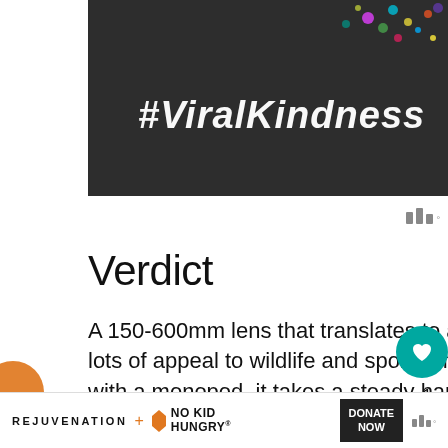[Figure (photo): Dark asphalt/concrete background with colorful confetti and the text #ViralKindness in white bold italic font]
Verdict
A 150-600mm lens that translates to a 229-914mm on an APS-C format camera holds lots of appeal to wildlife and sports photographers, but it brings a few challenges. Even with a monopod, it takes a steady hand to keep the composition just as you want at the longest end, especially when the subject is moving. And although the Fujifilm XF150-...
[Figure (screenshot): WHAT'S NEXT arrow label with thumbnail image and text: Fujifilm launches...]
REJUVENATION + NO KID HUNGRY  DONATE NOW